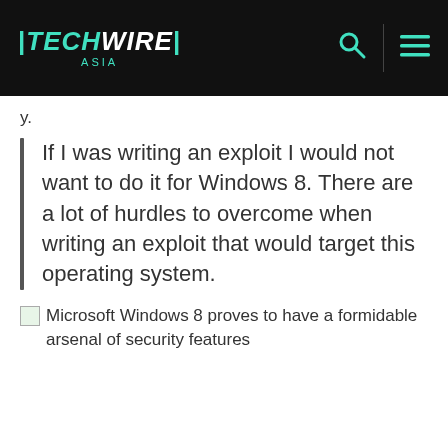TECHWIRE ASIA
y.
If I was writing an exploit I would not want to do it for Windows 8. There are a lot of hurdles to overcome when writing an exploit that would target this operating system.
Microsoft Windows 8 proves to have a formidable arsenal of security features